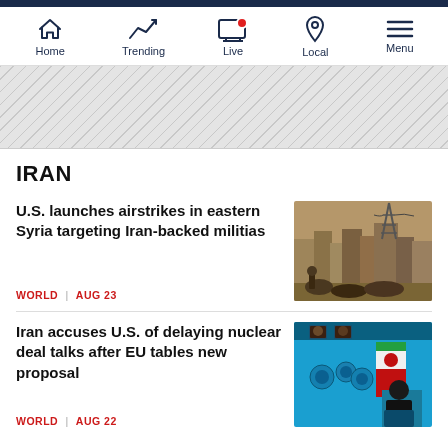Navigation bar: Home, Trending, Live, Local, Menu
[Figure (other): Diagonal striped banner/advertisement placeholder]
IRAN
U.S. launches airstrikes in eastern Syria targeting Iran-backed militias
WORLD | AUG 23
Iran accuses U.S. of delaying nuclear deal talks after EU tables new proposal
WORLD | AUG 22